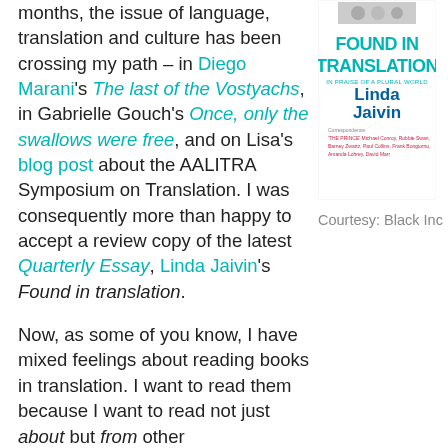months, the issue of language, translation and culture has been crossing my path – in Diego Marani's The last of the Vostyachs, in Gabrielle Gouch's Once, only the swallows were free, and on Lisa's blog post about the AALITRA Symposium on Translation. I was consequently more than happy to accept a review copy of the latest Quarterly Essay, Linda Jaivin's Found in translation.
[Figure (illustration): Book cover of Found in Translation: In Praise of a Plural World by Linda Jaivin, published as a Quarterly Essay. Cover shows bold cyan/teal text on white background with correspondence names listed below in pink/red text.]
Courtesy: Black Inc
Now, as some of you know, I have mixed feelings about reading books in translation. I want to read them because I want to read not just about but from other